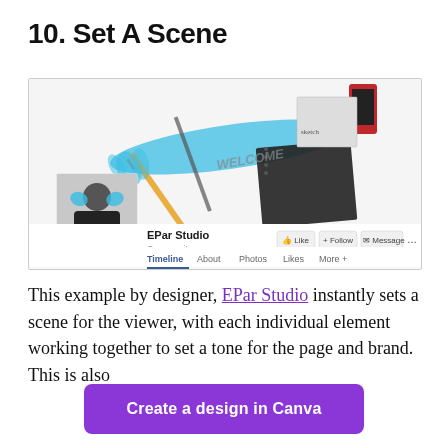10. Set A Scene
[Figure (screenshot): Facebook page screenshot for EPar Studio Community, showing a cover photo with art supplies, paint brushes, a blue paint stroke, a notebook, and the word WELCOME. Profile photo shows a woman with blue-painted hands. Navigation tabs: Timeline, About, Photos, Likes, More+. Action buttons: Like, Follow, Message.]
This example by designer, EPar Studio instantly sets a scene for the viewer, with each individual element working together to set a tone for the page and brand. This is also
Create a design in Canva